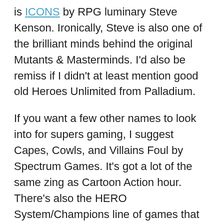is ICONS by RPG luminary Steve Kenson. Ironically, Steve is also one of the brilliant minds behind the original Mutants & Masterminds. I'd also be remiss if I didn't at least mention good old Heroes Unlimited from Palladium.
If you want a few other names to look into for supers gaming, I suggest Capes, Cowls, and Villains Foul by Spectrum Games. It's got a lot of the same zing as Cartoon Action hour. There's also the HERO System/Champions line of games that practically defined the industry and the genre. Last but not least, there's (my other favorite) Power Rangers RPG by Renegade Games. Sentai games such as Power Rangers cross the borders between mecha and supers.